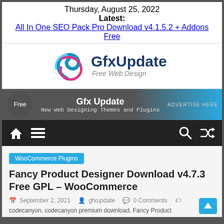Thursday, August 25, 2022
Latest:
All In One SEO Pack Pro Download v4.1.5.2 + Addons Free
[Figure (logo): GfxUpdate Free Web Design logo with a swirl graphic in blue and pink]
[Figure (infographic): Banner advertisement: Gfx Update - New Web Designing Themes and Plugins. ADVERTISE HERE. Free badge on left.]
[Figure (other): Navigation bar with home icon, hamburger menu, search icon, and shuffle/random icon on dark background]
WooCommerce Plugins
Fancy Product Designer Download v4.7.3 Free GPL – WooCommerce
September 2, 2021   gfxupdate   0 Comments
codecanyon, codecanyon premium download, Fancy Product